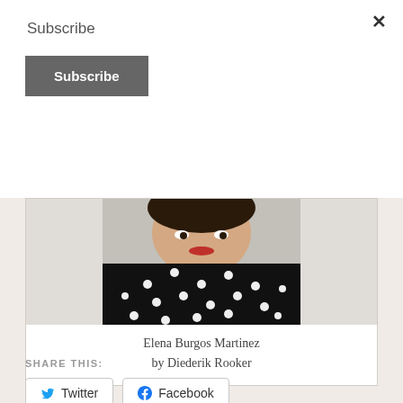Subscribe
Subscribe
[Figure (photo): Portrait photo of a woman wearing a black polka dot dress, looking at the camera from above angle]
Elena Burgos Martinez
by Diederik Rooker
SHARE THIS:
Twitter
Facebook
Loading...